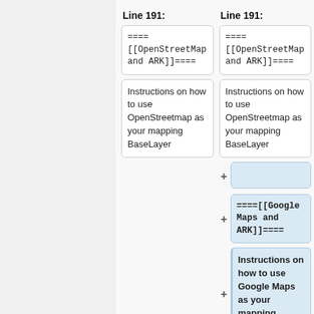Line 191:
Line 191:
====
[[OpenStreetMap
and ARK]]====
====
[[OpenStreetMap
and ARK]]====
Instructions on how to use OpenStreetmap as your mapping BaseLayer
Instructions on how to use OpenStreetmap as your mapping BaseLayer
(empty added line)
====[[Google Maps and ARK]]====
Instructions on how to use Google Maps as your mapping BaseLayer